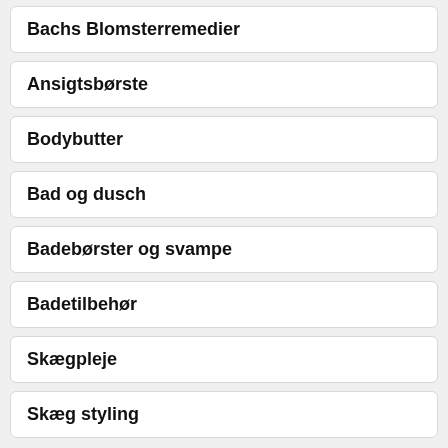Bachs Blomsterremedier
Ansigtsbørste
Bodybutter
Bad og dusch
Badebørster og svampe
Badetilbehør
Skægpleje
Skæg styling